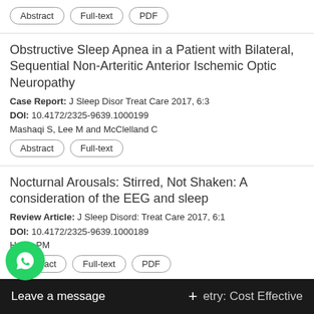Abstract | Full-text | PDF
Obstructive Sleep Apnea in a Patient with Bilateral, Sequential Non-Arteritic Anterior Ischemic Optic Neuropathy
Case Report: J Sleep Disor Treat Care 2017, 6:3
DOI: 10.4172/2325-9639.1000199
Mashaqi S, Lee M and McClelland C
Abstract | Full-text
Nocturnal Arousals: Stirred, Not Shaken: A consideration of the EEG and sleep
Review Article: J Sleep Disord: Treat Care 2017, 6:1
DOI: 10.4172/2325-9639.1000189
Haigh PM
Abstract | Full-text | PDF
High...etry: Cost Effective Too...